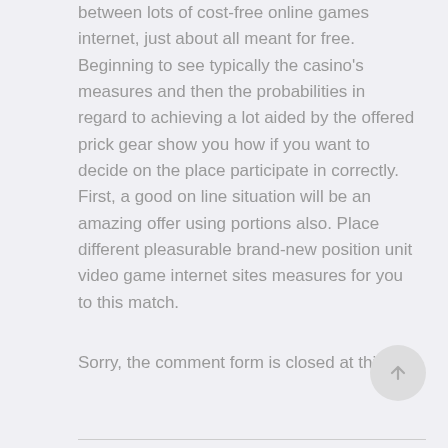between lots of cost-free online games internet, just about all meant for free. Beginning to see typically the casino's measures and then the probabilities in regard to achieving a lot aided by the offered prick gear show you how if you want to decide on the place participate in correctly. First, a good on line situation will be an amazing offer using portions also. Place different pleasurable brand-new position unit video game internet sites measures for you to this match.
Sorry, the comment form is closed at this time.